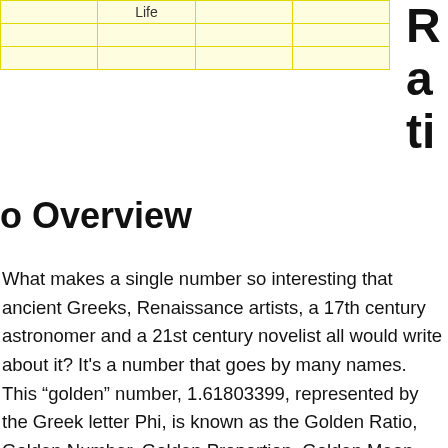|  | Life |  |  |
| --- | --- | --- | --- |
|  |  |  |  |
|  |  |  |  |
|  |  |  |  |
Ratio
o Overview
What makes a single number so interesting that ancient Greeks, Renaissance artists, a 17th century astronomer and a 21st century novelist all would write about it? It's a number that goes by many names. This “golden” number, 1.61803399, represented by the Greek letter Phi, is known as the Golden Ratio, Golden Number, Golden Proportion, Golden Mean, Golden Section, Divine Proportion and Divine Section.  It was written about by Euclid in "Elements" around 300 B.C., by Luca Pacioli, a contemporary of Leonardo Da Vinci, in "De Divina Proportione" in 1509, by Johannes Kepler around 1600 and by Dan Brown in 2003 in his best selling novel, "The